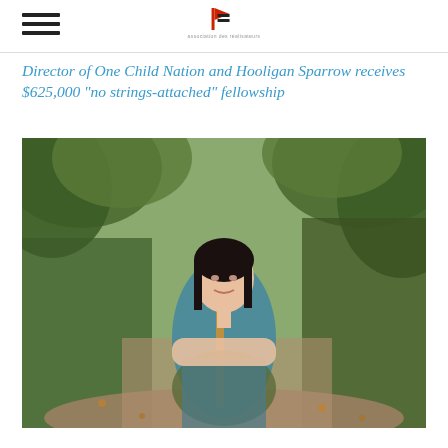One Nation Sins — logo and hamburger menu
Director of One Child Nation and Hooligan Sparrow receives $625,000 "no strings-attached" fellowship
[Figure (photo): A woman with dark hair wearing a colorful blue and orange patterned dress stands with arms crossed on a tree-lined path outdoors]